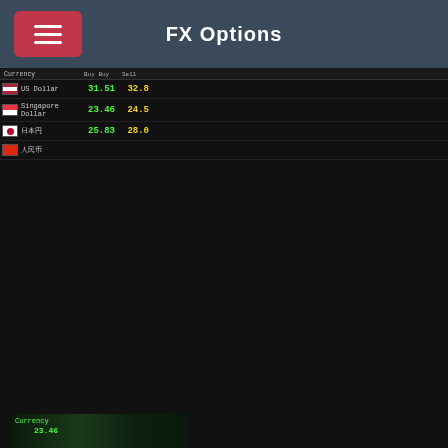FX Options
What are the Pros and Cons of Forex Currency Trading? Currency trading carries a few huge pros that you need to understand if you're looking at the Forex trading market for investment potential. Leverage: A small amount of capital can go a long way. Leverage makes 1 dollar worth 50 or 100 during the trade.
[Figure (photo): Forex currency trading board showing exchange rates for US Dollar, Singapore Dollar, Japanese Yen, and Chinese Yuan with buy/sell prices in green and yellow]
READ MORE
Capital Forex Trading - Home | Facebook
Risk Warning: Trading leveraged products such as cryptocurrencies, commodities, bonds, stocks or forex and derivatives may not be suitable for all investors as they carry a high degree of risk to your capital, it involves substantial risk of loss and is not suitable for all types of investors.
[Figure (photo): Forex currency trading board, partially visible at bottom of page]